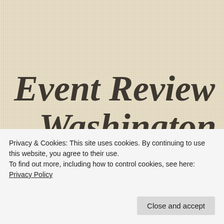Event Review – Washington The World
Privacy & Cookies: This site uses cookies. By continuing to use this website, you agree to their use.
To find out more, including how to control cookies, see here: Privacy Policy
Close and accept